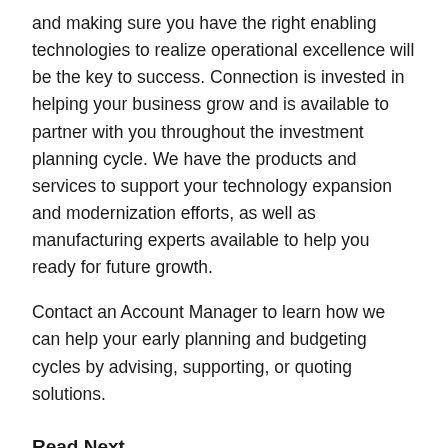and making sure you have the right enabling technologies to realize operational excellence will be the key to success. Connection is invested in helping your business grow and is available to partner with you throughout the investment planning cycle. We have the products and services to support your technology expansion and modernization efforts, as well as manufacturing experts available to help you ready for future growth.
Contact an Account Manager to learn how we can help your early planning and budgeting cycles by advising, supporting, or quoting solutions.
Read Next
TechSperience Solutions Episode 108: Current